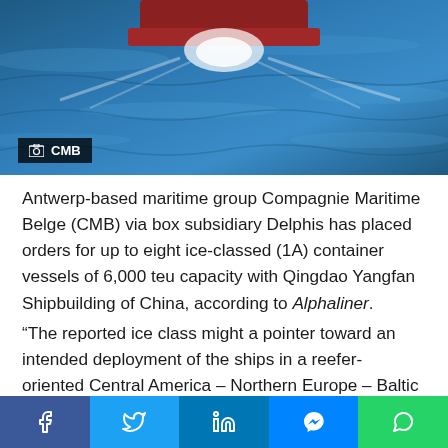[Figure (photo): Aerial view of a large blue cargo/container ship sailing through blue ocean water, photographed from above. Caption bar shows camera icon and 'CMB'.]
CMB
Antwerp-based maritime group Compagnie Maritime Belge (CMB) via box subsidiary Delphis has placed orders for up to eight ice-classed (1A) container vessels of 6,000 teu capacity with Qingdao Yangfan Shipbuilding of China, according to Alphaliner.
“The reported ice class might a pointer toward an intended deployment of the ships in a reefer- oriented Central America – Northern Europe – Baltic Russia service, which would need seven or eight ships for a weekly schedule,” Alphaliner suggested in its most recent weekly report.
Facebook Twitter LinkedIn Messenger WhatsApp